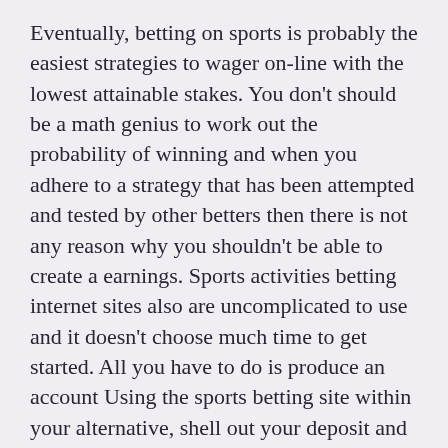Eventually, betting on sports is probably the easiest strategies to wager on-line with the lowest attainable stakes. You don't should be a math genius to work out the probability of winning and when you adhere to a strategy that has been attempted and tested by other betters then there is not any reason why you shouldn't be able to create a earnings. Sports activities betting internet sites also are uncomplicated to use and it doesn't choose much time to get started. All you have to do is produce an account Using the sports betting site within your alternative, shell out your deposit and spot your bets.
They're just a few of the reasons why you'll want to opt to head to websites in which you can bet on athletics. Naturally, you'll find other Advantages which include The truth that most sports betting